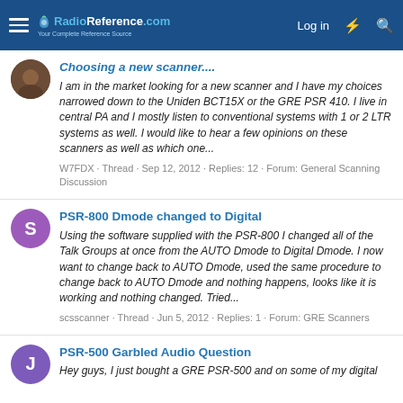RadioReference.com — Log in
Choosing a new scanner....
I am in the market looking for a new scanner and I have my choices narrowed down to the Uniden BCT15X or the GRE PSR 410. I live in central PA and I mostly listen to conventional systems with 1 or 2 LTR systems as well. I would like to hear a few opinions on these scanners as well as which one...
W7FDX · Thread · Sep 12, 2012 · Replies: 12 · Forum: General Scanning Discussion
PSR-800 Dmode changed to Digital
Using the software supplied with the PSR-800 I changed all of the Talk Groups at once from the AUTO Dmode to Digital Dmode. I now want to change back to AUTO Dmode, used the same procedure to change back to AUTO Dmode and nothing happens, looks like it is working and nothing changed. Tried...
scsscanner · Thread · Jun 5, 2012 · Replies: 1 · Forum: GRE Scanners
PSR-500 Garbled Audio Question
Hey guys, I just bought a GRE PSR-500 and on some of my digital